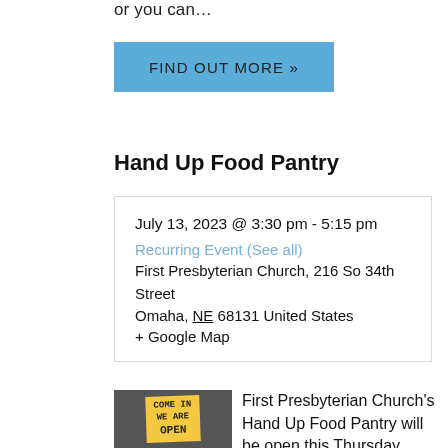or you can…
FIND OUT MORE »
Hand Up Food Pantry
July 13, 2023 @ 3:30 pm - 5:15 pm
Recurring Event (See all)
First Presbyterian Church, 216 So 34th Street
Omaha, NE 68131 United States
+ Google Map
[Figure (photo): Store front photo with yellow 'COME IN WE ARE OPEN' sign]
First Presbyterian Church's Hand Up Food Pantry will be open this Thursday